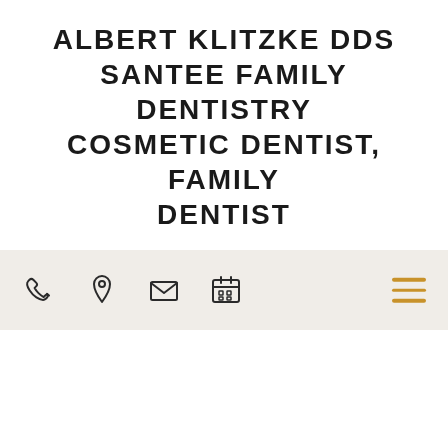ALBERT KLITZKE DDS SANTEE FAMILY DENTISTRY COSMETIC DENTIST, FAMILY DENTIST
[Figure (screenshot): Navigation bar with icons: phone, location pin, envelope, calendar, and a hamburger menu icon in gold/amber color on the right]